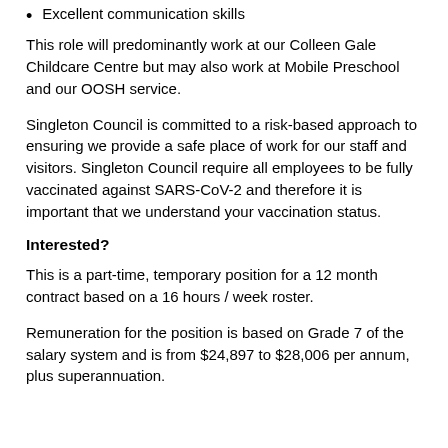Excellent communication skills
This role will predominantly work at our Colleen Gale Childcare Centre but may also work at Mobile Preschool and our OOSH service.
Singleton Council is committed to a risk-based approach to ensuring we provide a safe place of work for our staff and visitors. Singleton Council require all employees to be fully vaccinated against SARS-CoV-2 and therefore it is important that we understand your vaccination status.
Interested?
This is a part-time, temporary position for a 12 month contract based on a 16 hours / week roster.
Remuneration for the position is based on Grade 7 of the salary system and is from $24,897 to $28,006 per annum, plus superannuation.